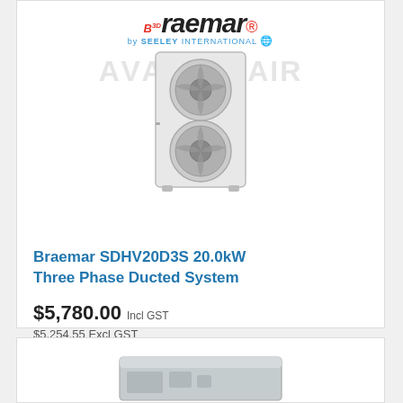[Figure (photo): Braemar SDHV20D3S outdoor unit with two circular fans, white cabinet, shown with Braemar by Seeley International logo above. Watermark text in background.]
Braemar SDHV20D3S 20.0kW Three Phase Ducted System
$5,780.00 Incl GST
$5,254.55 Excl GST
Add to Cart
[Figure (photo): Partial view of another product unit at bottom of page, light grey rectangular ducted unit.]